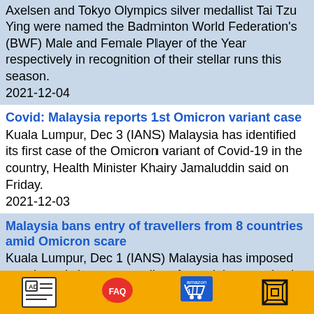Axelsen and Tokyo Olympics silver medallist Tai Tzu Ying were named the Badminton World Federation's (BWF) Male and Female Player of the Year respectively in recognition of their stellar runs this season.
2021-12-04
Covid: Malaysia reports 1st Omicron variant case
Kuala Lumpur, Dec 3 (IANS) Malaysia has identified its first case of the Omicron variant of Covid-19 in the country, Health Minister Khairy Jamaluddin said on Friday.
2021-12-03
Malaysia bans entry of travellers from 8 countries amid Omicron scare
Kuala Lumpur, Dec 1 (IANS) Malaysia has imposed travel restrictions on travellers from eight countries in a bid to stop the new Omicron variant from spreading to the country, Health Minister Khairy Jamaluddin said on Wednesday.
2021-12-01
Travel between Malaysia, Singapore resumes as Vaccinated Travel Lane kicks off
Kuala Lumpur, Nov 29 (IANS) Travel across the bridge connecting Malaysia and Singapore as well as an air corridor opened on Monday after disruptions caused by the Covid-19 pandemic.
[AD icon] [FAQ icon] [Amazon cart icon] [Grid icon]